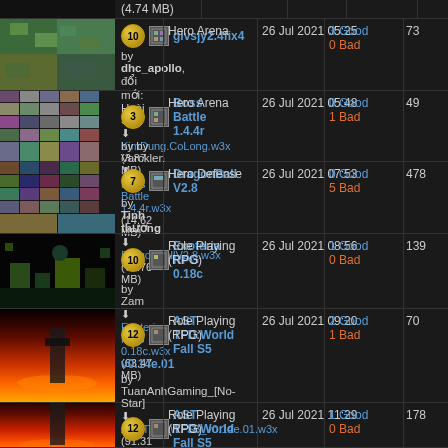| Thumbnail | Map Info | Category | Date | Rating | Downloads |
| --- | --- | --- | --- | --- | --- |
| (4.74 MB) | glvsjy2.4fix4 by dhc_apollo, đổi mới: Hoài Sa KimDung.CoLong.w3x (3.87 MB) | Hero Arena | 26 Jul 2021 05:25 | 3 Good 0 Bad | 73 |
|  | Boss Battle 1.4.4r by by Varcklen Boss Battle 1.4.4r.w3x (14.62 MB) | Hero Arena | 26 Jul 2021 05:48 | 0 Good 1 Bad | 49 |
|  | DragonBall V2.8 by Tinh thương DragonBallV2.8.w3x (77.76 MB) | Hero Defense | 26 Jul 2021 07:53 | 0 Good 5 Bad | 478 |
|  | Exoteria RPG 0.18c by Zam Exoteria RPG 0.18c.w3x (63.47 MB) | Role Playing (RPG) | 26 Jul 2021 08:56 | 1 Good 0 Bad | 139 |
|  | AST TFD:World Fall S5 v0.14e.01 by TuanAnhGaming_[No-Star] ASTTFD_WFS5_v0.14e.01.w3x (91.31 MB) | Role Playing (RPG) | 26 Jul 2021 09:20 | 2 Good 1 Bad | 70 |
|  | AST TFD:World Fall S5 v0.14e.01 Fix by TuanAnhGaming_[No-Star] | Role Playing (RPG) | 26 Jul 2021 11:29 | 1 Good 0 Bad | 178 |